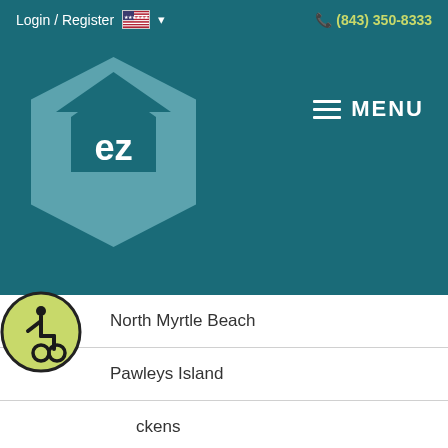Login / Register  🇺🇸 ▾   (843) 350-8333
[Figure (logo): EZ home logo — teal hexagon with house outline and 'ez' text, on dark teal header bar with MENU hamburger icon]
North Myrtle Beach
Pawleys Island
Pickens
Rock Hill
Spartanburg
Summerville
Travelers Rest